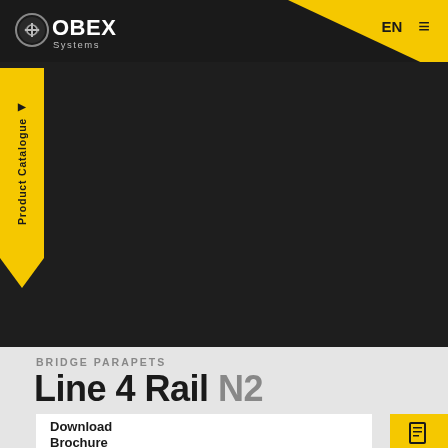OBEX Systems — EN
[Figure (logo): OBEX Systems logo — circular arrow icon with OBEX in white bold text and 'Systems' below]
Product Catalogue
BRIDGE PARAPETS
Line 4 Rail N2
Download Brochure